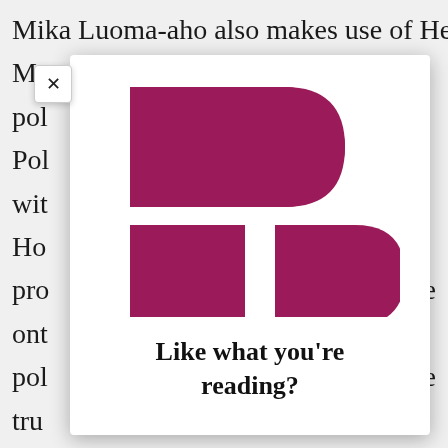Mika Luoma-aho also makes use of Heinrich M... ...en pol... Pol... wit... Ho... pro... ont... pol... the tru... pol... n can... coll... pol... n
[Figure (logo): Publisher logo composed of dark magenta/crimson shapes: a large rectangle with a D-shape (semicircle on right) on top, and below it a smaller tall rectangle on the left and a smaller D-shape on the right, forming a stylized letter P or publisher mark.]
Like what you're reading?